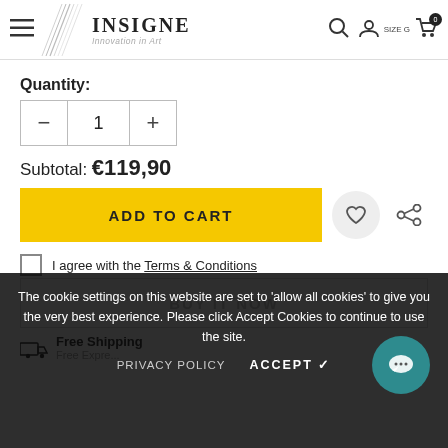INSIGNE Innovation in Art
Quantity:
1
Subtotal: €119,90
ADD TO CART
I agree with the Terms & Conditions
BUY IT NOW
Free Shipping
Free Expre...
The cookie settings on this website are set to 'allow all cookies' to give you the very best experience. Please click Accept Cookies to continue to use the site.
PRIVACY POLICY   ACCEPT ✓